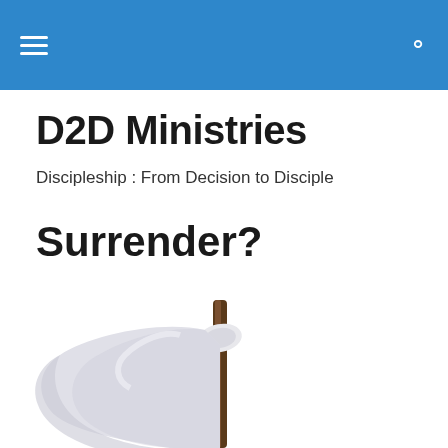D2D Ministries — navigation header bar
D2D Ministries
Discipleship : From Decision to Disciple
Surrender?
[Figure (photo): A white surrender flag on a wooden stick, photographed against a white background, partially visible from mid-frame downward.]